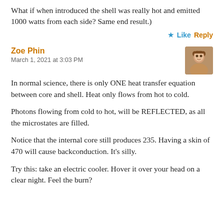What if when introduced the shell was really hot and emitted 1000 watts from each side? Same end result.)
Like   Reply
Zoe Phin
March 1, 2021 at 3:03 PM
[Figure (photo): Avatar photo of commenter Zoe Phin]
In normal science, there is only ONE heat transfer equation between core and shell. Heat only flows from hot to cold.
Photons flowing from cold to hot, will be REFLECTED, as all the microstates are filled.
Notice that the internal core still produces 235. Having a skin of 470 will cause backconduction. It’s silly.
Try this: take an electric cooler. Hover it over your head on a clear night. Feel the burn?